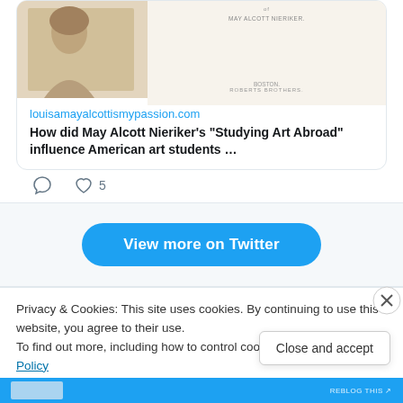[Figure (screenshot): Tweet card showing a vintage photograph of a person and book cover text for 'May Alcott Nieriker', Boston, Roberts Brothers]
louisamayalcottismypassion.com
How did May Alcott Nieriker’s “Studying Art Abroad” influence American art students …
[Figure (infographic): Tweet action icons: comment bubble and heart icon with count 5]
View more on Twitter
Privacy & Cookies: This site uses cookies. By continuing to use this website, you agree to their use.
To find out more, including how to control cookies, see here: Cookie Policy
Close and accept